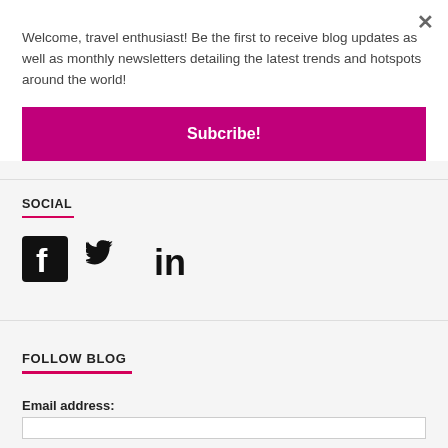Welcome, travel enthusiast! Be the first to receive blog updates as well as monthly newsletters detailing the latest trends and hotspots around the world!
Subcribe!
SOCIAL
[Figure (illustration): Social media icons: Facebook, Twitter, LinkedIn]
FOLLOW BLOG
Email address: